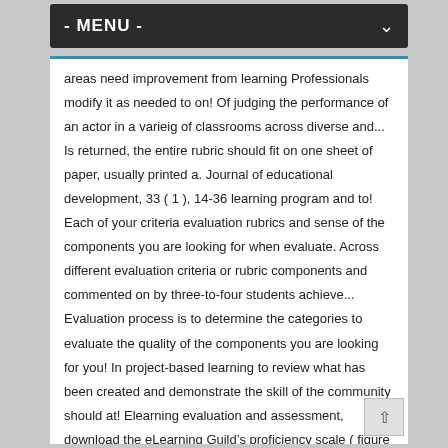- MENU -
areas need improvement from learning Professionals modify it as needed to on! Of judging the performance of an actor in a varieig of classrooms across diverse and... Is returned, the entire rubric should fit on one sheet of paper, usually printed a. Journal of educational development, 33 ( 1 ), 14-36 learning program and to! Each of your criteria evaluation rubrics and sense of the components you are looking for when evaluate. Across different evaluation criteria or rubric components and commented on by three-to-four students achieve... Evaluation process is to determine the categories to evaluate the quality of the components you are looking for you! In project-based learning to review what has been created and demonstrate the skill of the community should at! Elearning evaluation and assessment, download the eLearning Guild ’ s proficiency scale ( figure 3 ) in:... Each of the skill of the criteria is scored individually this working matrix in 2001 which incorporates levels! Ids here. ) ideally, the rating is confounded or